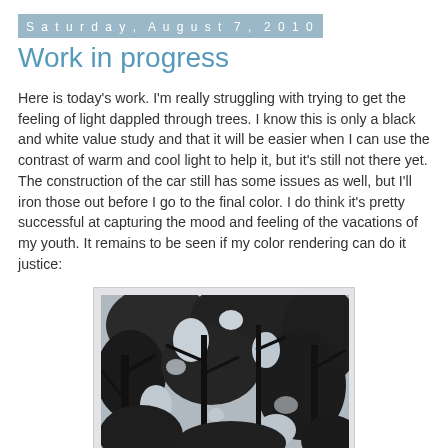Saturday, August 7, 2010
Work in progress
Here is today's work. I'm really struggling with trying to get the feeling of light dappled through trees. I know this is only a black and white value study and that it will be easier when I can use the contrast of warm and cool light to help it, but it's still not there yet. The construction of the car still has some issues as well, but I'll iron those out before I go to the final color. I do think it's pretty successful at capturing the mood and feeling of the vacations of my youth. It remains to be seen if my color rendering can do it justice:
[Figure (illustration): Black and white value study illustration showing dappled light through trees, with dark foliage, branches, and lighter sky areas visible between the leaves. A partial view of a car construction is implied. Monochromatic pencil or digital drawing style.]